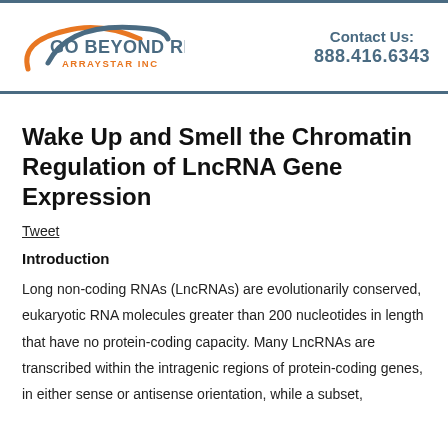GO BEYOND RNA ARRAYSTAR INC | Contact Us: 888.416.6343
Wake Up and Smell the Chromatin Regulation of LncRNA Gene Expression
Tweet
Introduction
Long non-coding RNAs (LncRNAs) are evolutionarily conserved, eukaryotic RNA molecules greater than 200 nucleotides in length that have no protein-coding capacity. Many LncRNAs are transcribed within the intragenic regions of protein-coding genes, in either sense or antisense orientation, while a subset,